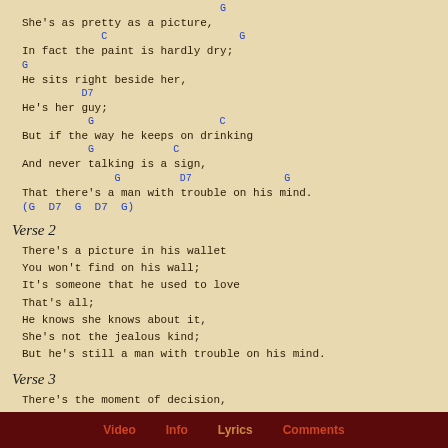She's as pretty as a picture,
[C] [G]
In fact the paint is hardly dry;
[G]
He sits right beside her,
[D7]
He's her guy;
[G] [C]
But if the way he keeps on drinking
[G] [C]
And never talking is a sign,
[G] [D7] [G]
That there's a man with trouble on his mind.
(G  D7  G  D7  G)
Verse 2
There's a picture in his wallet
You won't find on his wall;
It's someone that he used to love
That's all;
He knows she knows about it,
She's not the jealous kind;
But he's still a man with trouble on his mind.
Verse 3
There's the moment of decision,
There's the future that it brings;
That's the rule for paupers
And kings;
He's heading for the doorway,
He can't help but look behind;
There goes a man with trouble on his mind.
Video  Info  Lyrics  Comments